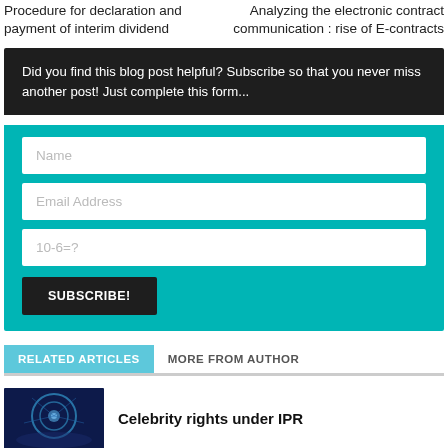Procedure for declaration and payment of interim dividend
Analyzing the electronic contract communication : rise of E-contracts
Did you find this blog post helpful? Subscribe so that you never miss another post! Just complete this form...
Name
Email Address
10-6=?
SUBSCRIBE!
RELATED ARTICLES
MORE FROM AUTHOR
Celebrity rights under IPR